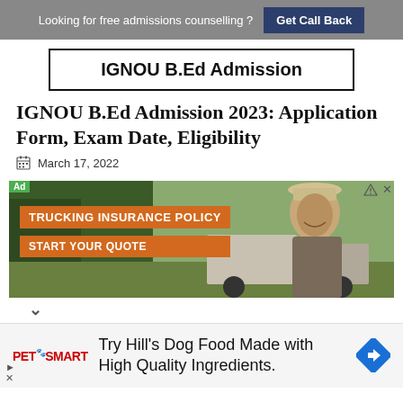Looking for free admissions counselling ? Get Call Back
IGNOU B.Ed Admission
IGNOU B.Ed Admission 2023: Application Form, Exam Date, Eligibility
March 17, 2022
[Figure (photo): Advertisement banner for trucking insurance policy showing a man in a cap with text: TRUCKING INSURANCE POLICY, START YOUR QUOTE]
[Figure (photo): PetSmart advertisement: Try Hill's Dog Food Made with High Quality Ingredients, with PetSmart logo and diamond navigation icon]